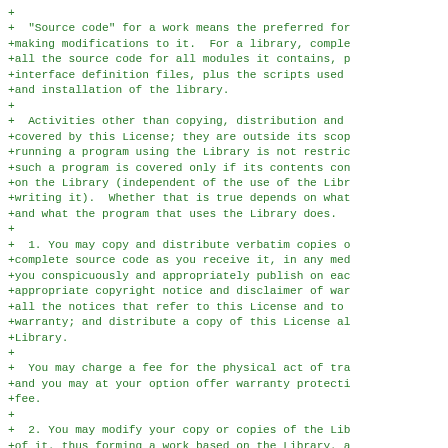+ 
+  "Source code" for a work means the preferred for
+making modifications to it.  For a library, comple
+all the source code for all modules it contains, p
+interface definition files, plus the scripts used 
+and installation of the library.
+
+  Activities other than copying, distribution and 
+covered by this License; they are outside its scop
+running a program using the Library is not restric
+such a program is covered only if its contents con
+on the Library (independent of the use of the Libr
+writing it).  Whether that is true depends on what
+and what the program that uses the Library does.
+
+  1. You may copy and distribute verbatim copies o
+complete source code as you receive it, in any med
+you conspicuously and appropriately publish on eac
+appropriate copyright notice and disclaimer of war
+all the notices that refer to this License and to 
+warranty; and distribute a copy of this License al
+Library.
+
+  You may charge a fee for the physical act of tra
+and you may at your option offer warranty protecti
+fee.
+
+  2. You may modify your copy or copies of the Lib
+of it, thus forming a work based on the Library, a
+distribute such modifications or work under the te